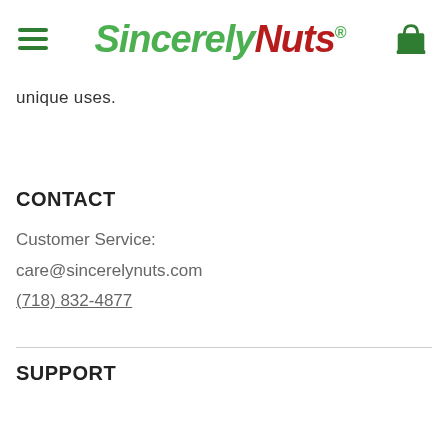Sincerely Nuts logo and navigation header
unique uses.
CONTACT
Customer Service:
care@sincerelynuts.com
(718) 832-4877
SUPPORT